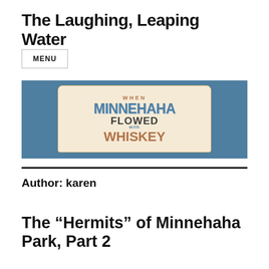The Laughing, Leaping Water
MENU
[Figure (illustration): Banner image with steel-blue background featuring a vintage-style plaque/sign reading 'WHEN MINNEHAHA FLOWED with WHISKEY' in decorative typography. 'WHEN' is small caps in brown, 'MINNEHAHA' is large blue vintage lettering, 'FLOWED' is large dark lettering, 'with' is small blue text, and 'WHISKEY' is large brown vintage lettering.]
Author: karen
The “Hermits” of Minnehaha Park, Part 2